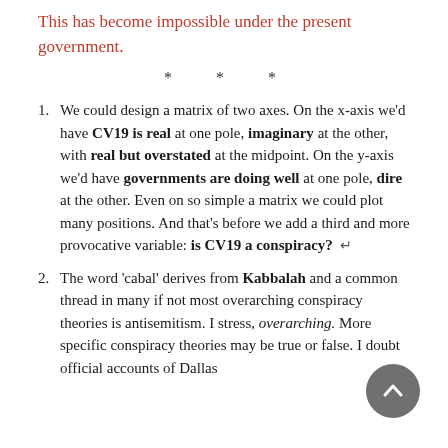This has become impossible under the present government.
* * *
We could design a matrix of two axes. On the x-axis we'd have CV19 is real at one pole, imaginary at the other, with real but overstated at the midpoint. On the y-axis we'd have governments are doing well at one pole, dire at the other. Even on so simple a matrix we could plot many positions. And that's before we add a third and more provocative variable: is CV19 a conspiracy? ↵
The word 'cabal' derives from Kabbalah and a common thread in many if not most overarching conspiracy theories is antisemitism. I stress, overarching. More specific conspiracy theories may be true or false. I doubt official accounts of Dallas